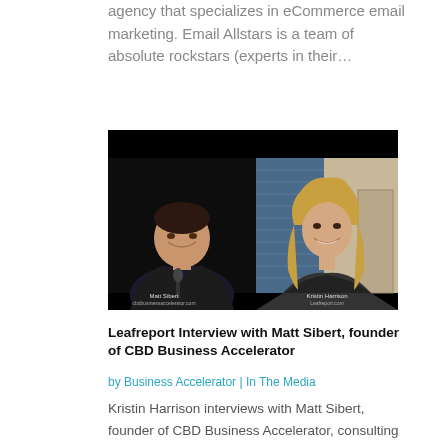agency that specializes in eCommerce email marketing. Email Allstars is a team of absolute rockstars (experts in their…
[Figure (photo): Video interview screenshot showing two people side by side on a dark background. Left: Matt Sibert, cbdbusinessaccelerator.com. Right: Kristin Harrison, Leafreport.com.]
Leafreport Interview with Matt Sibert, founder of CBD Business Accelerator
by Business Accelerator | In The Media
Kristin Harrison interviews with Matt Sibert, founder of CBD Business Accelerator, consulting company